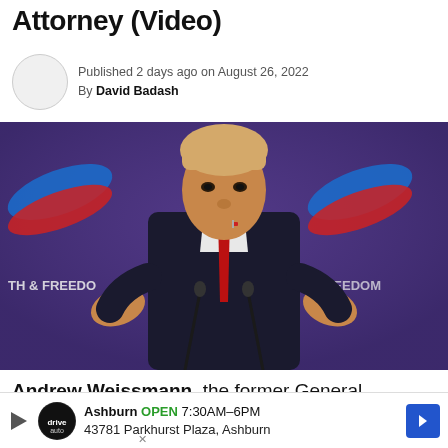Attorney (Video)
Published 2 days ago on August 26, 2022
By David Badash
[Figure (photo): Donald Trump speaking at a podium at a 'Truth & Freedom' event, wearing a dark suit and red tie, gesturing with both hands open, in front of a purple background with event logos.]
Andrew Weissmann, the former General Counsel of the Federal Bureau of Investigation, says former
Ashburn OPEN 7:30AM–6PM
43781 Parkhurst Plaza, Ashburn